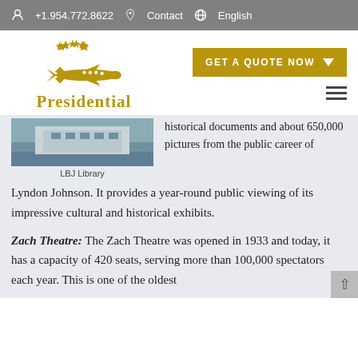+1.954.772.8622   Contact   English
[Figure (logo): Presidential aviation company logo with golden stars arranged in a circle around a golden airplane silhouette, with text 'Presidential' below]
GET A QUOTE NOW
[Figure (photo): LBJ Library building exterior photo]
LBJ Library
historical documents and about 650,000 pictures from the public career of Lyndon Johnson. It provides a year-round public viewing of its impressive cultural and historical exhibits.
Zach Theatre: The Zach Theatre was opened in 1933 and today, it has a capacity of 420 seats, serving more than 100,000 spectators each year. This is one of the oldest